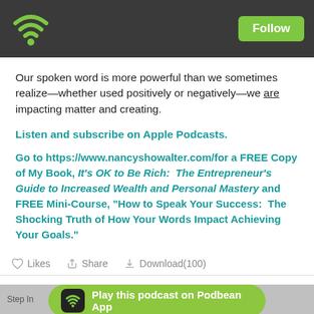[Figure (screenshot): Podbean podcast app header with WiFi/podcast icon on dark grey background and a green Follow button]
Our spoken word is more powerful than we sometimes realize—whether used positively or negatively—we are impacting matter and creating.
Listen and subscribe on Apple Podcasts.
Go to https://www.nancyshowalter.com/for a FREE Copy of My Book, It's OK to Be Rich: The Entrepreneur's Guide to Increased Wealth and Personal Mastery and FREE Mini-Course, "How to Speak Your Success: The Shocking Truth of How Your Words Impact Achieving Your Goals."
Likes  Share  Download(100)
[Figure (screenshot): Podbean App play button pill at bottom of screen with green background]